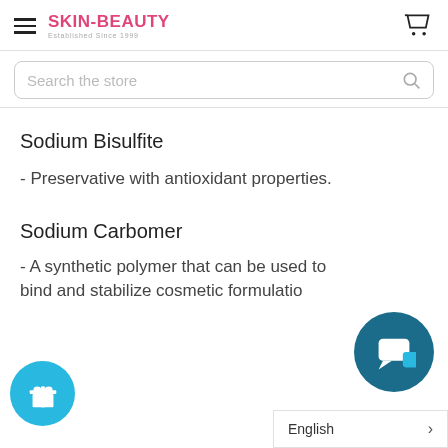SKIN-BEAUTY Established Since 1999
Sodium Bisulfite
- Preservative with antioxidant properties.
Sodium Carbomer
- A synthetic polymer that can be used to bind and stabilize cosmetic formulations.